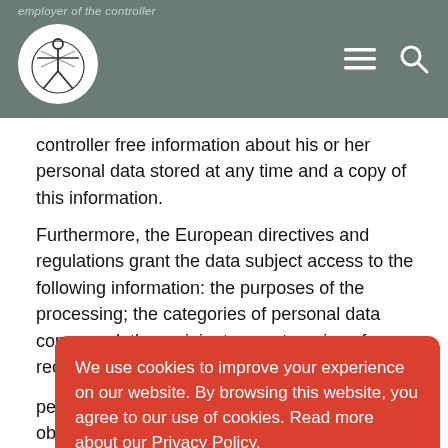employer of the controller
controller free information about his or her personal data stored at any time and a copy of this information.
Furthermore, the European directives and regulations grant the data subject access to the following information: the purposes of the processing; the categories of personal data concerned; the recipients or categories of recipients to w... p... o... w... th... th... e...
We use cookies to improve your experience on our website. By browsing this website, you agree to our use of cookies. Read more about our Privacy Policy.
I accept
personal data concerning the data subject; or to object to